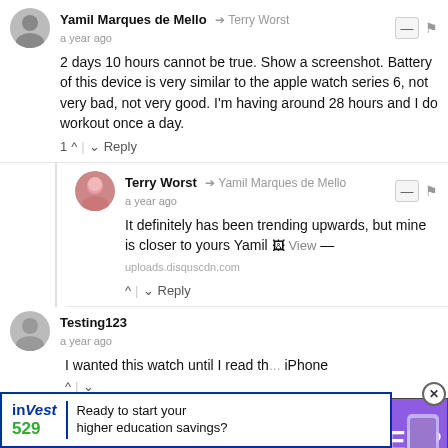Yamil Marques de Mello → Terry Worst
a year ago
2 days 10 hours cannot be true. Show a screenshot. Battery of this device is very similar to the apple watch series 6, not very bad, not very good. I'm having around 28 hours and I do workout once a day.
1 ↑ | ↓ Reply
Terry Worst → Yamil Marques de Mello
a year ago
It definitely has been trending upwards, but mine is closer to yours Yamil 🖼 View — uploads.disquscdn.com
↑ | ↓ Reply
Testing123
a year ago
I wanted this watch until I read th[...] iPhone
[Figure (screenshot): Video thumbnail showing a man's face with text SEP? and DAILY. with a purple iPhone]
[Figure (screenshot): Bottom advertisement: inVest 529 - Ready to start your higher education savings?]